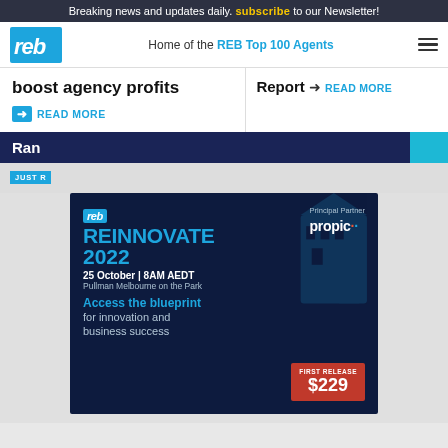Breaking news and updates daily. subscribe to our Newsletter!
[Figure (logo): REB logo - real estate business website logo with cyan background]
Home of the REB Top 100 Agents
boost agency profits
➜ READ MORE
Report ➜ READ MORE
Ran
JUST R
[Figure (advertisement): REB Reinnovate 2022 event advertisement. Principal Partner: propic. 25 October | 8AM AEDT, Pullman Melbourne on the Park. Access the blueprint for innovation and business success. First Release $229.]